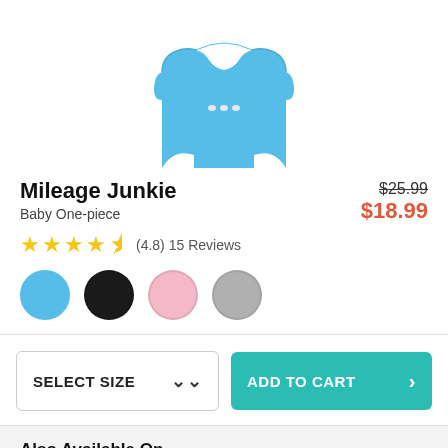[Figure (photo): Light blue baby one-piece bodysuit / onesie with snap buttons at the crotch, shown from the front, cropped at top]
Mileage Junkie
Baby One-piece
$25.99 $18.99
(4.8) 15 Reviews
[Figure (illustration): Four color swatches: light blue, black, pink, gray]
SELECT SIZE
ADD TO CART
Also Available On
[Figure (photo): Thumbnail images of alternative product styles, partially visible at bottom]